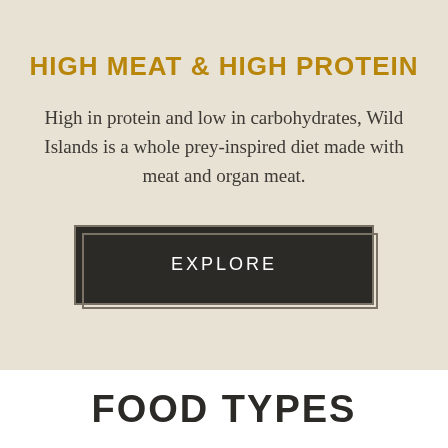HIGH MEAT & HIGH PROTEIN
High in protein and low in carbohydrates, Wild Islands is a whole prey-inspired diet made with meat and organ meat.
[Figure (other): Dark button with border reading EXPLORE]
FOOD TYPES